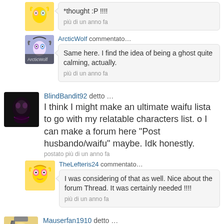*thought :P !!!!
più di un anno fa
ArcticWolf commentato…
Same here. I find the idea of being a ghost quite calming, actually.
più di un anno fa
BlindBandit92 detto …
I think I might make an ultimate waifu lista to go with my relatable characters list. o I can make a forum here "Post husbando/waifu" maybe. Idk honestly.
postato più di un anno fa
TheLefteris24 commentato…
I was considering of that as well. Nice about the forum Thread. It was certainly needed !!!!
più di un anno fa
Mauserfan1910 detto …
random fact, I wear hobnail boots to work,